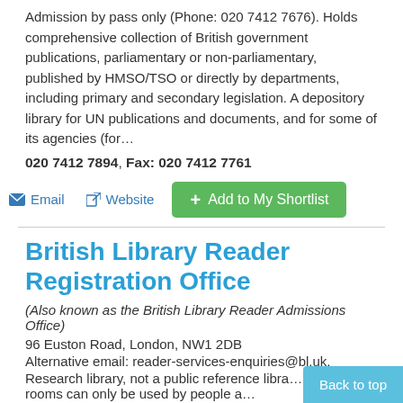Admission by pass only (Phone: 020 7412 7676). Holds comprehensive collection of British government publications, parliamentary or non-parliamentary, published by HMSO/TSO or directly by departments, including primary and secondary legislation. A depository library for UN publications and documents, and for some of its agencies (for…
020 7412 7894, Fax: 020 7412 7761
Email   Website   Add to My Shortlist
British Library Reader Registration Office
(Also known as the British Library Reader Admissions Office)
96 Euston Road, London, NW1 2DB
Alternative email: reader-services-enquiries@bl.uk.
Research library, not a public reference libra… reading rooms can only be used by people a…